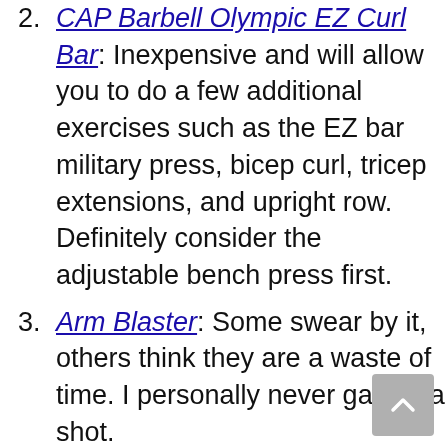CAP Barbell Olympic EZ Curl Bar: Inexpensive and will allow you to do a few additional exercises such as the EZ bar military press, bicep curl, tricep extensions, and upright row. Definitely consider the adjustable bench press first.
Arm Blaster: Some swear by it, others think they are a waste of time. I personally never gave it a shot.
Part 2: How to get bigger arms with dumbbells